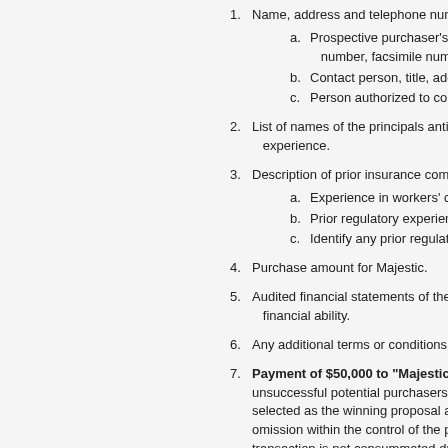1. Name, address and telephone number of prospective purchaser.
a. Prospective purchaser's official registered name, number, facsimile number and email address
b. Contact person, title, address (if different from above)
c. Person authorized to contractually bind the organization
2. List of names of the principals anticipated to be included in the purchase and summary of experience.
3. Description of prior insurance company experience including:
a. Experience in workers' compensation market.
b. Prior regulatory experience in operating a domestic insurance company.
c. Identify any prior regulatory action taken against the prospective purchaser.
4. Purchase amount for Majestic.
5. Audited financial statements of the prospective purchaser demonstrating financial ability.
6. Any additional terms or conditions requested by the prospective purchaser.
7. Payment of $50,000 to "Majestic Insurance Company" will be returned to unsuccessful potential purchasers after the selection of a winning proposal. If selected as the winning proposal and the transaction is not consummated due to an act or omission within the control of the prospective purchaser, the deposit is forfeited. If the transaction is not consummated due to an act or omission, the deposit will be applied to the purchase price at closing. All interest earned on the deposit will be used to offset the expenses of the RFP process.